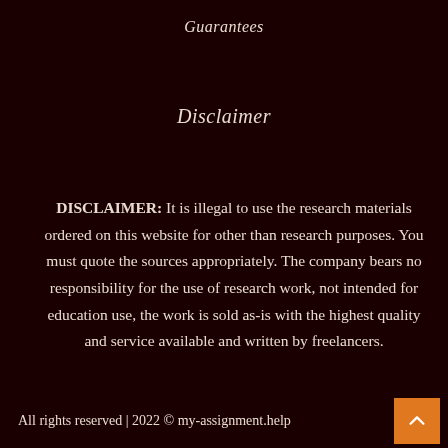Guarantees
Disclaimer
DISCLAIMER: It is illegal to use the research materials ordered on this website for other than research purposes. You must quote the sources appropriately. The company bears no responsibility for the use of research work, not intended for education use, the work is sold as-is with the highest quality and service available and written by freelancers.
All rights reserved | 2022 © my-assignment.help